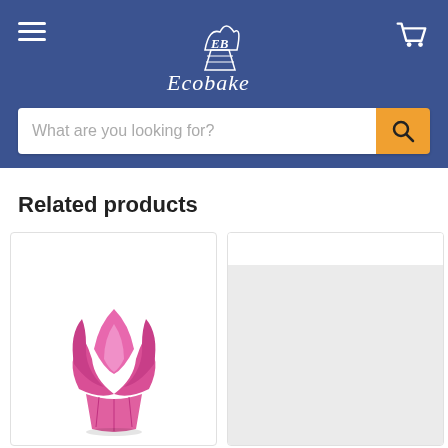Ecobake - navigation header with logo, hamburger menu, cart icon, and search bar
Related products
[Figure (photo): Pink tulip-shaped muffin/cupcake paper cup baking case on white background]
[Figure (photo): Partially visible product image with light gray background, content cropped]